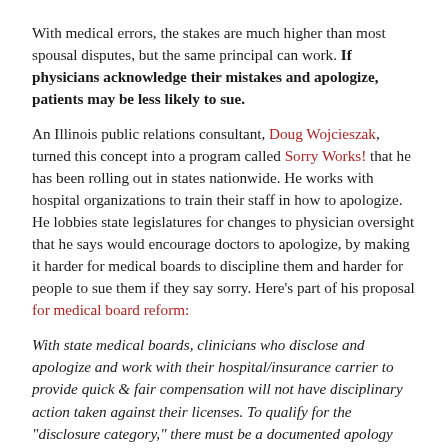With medical errors, the stakes are much higher than most spousal disputes, but the same principal can work. If physicians acknowledge their mistakes and apologize, patients may be less likely to sue.
An Illinois public relations consultant, Doug Wojcieszak, turned this concept into a program called Sorry Works! that he has been rolling out in states nationwide. He works with hospital organizations to train their staff in how to apologize. He lobbies state legislatures for changes to physician oversight that he says would encourage doctors to apologize, by making it harder for medical boards to discipline them and harder for people to sue them if they say sorry. Here's part of his proposal for medical board reform:
With state medical boards, clinicians who disclose and apologize and work with their hospital/insurance carrier to provide quick & fair compensation will not have disciplinary action taken against their licenses. To qualify for the "disclosure category," there must be a documented apology meeting between the patient/family and clinician(s), and the patient/family must